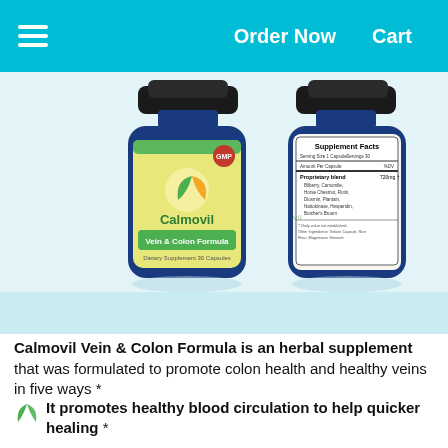Order Now   Cart
[Figure (photo): Two blue supplement bottles of Calmovil Vein & Colon Formula — front label showing product name and GMP badge, back label showing Supplement Facts panel with proprietary blend of Bilberry, Camomile, Horse Chestnut, Rutin, Diosmin, Plantain, Nattokinase, Hesperidin, Butcher's Broom]
Calmovil Vein & Colon Formula is an herbal supplement that was formulated to promote colon health and healthy veins in five ways *
It promotes healthy blood circulation to help quicker healing *